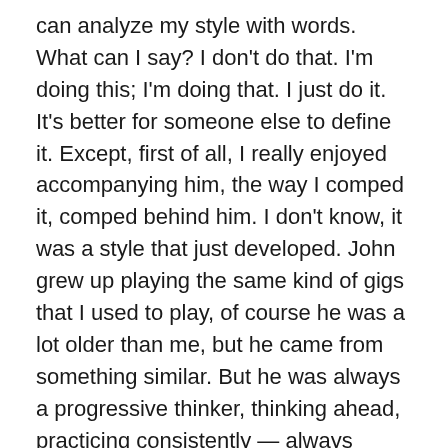can analyze my style with words. What can I say? I don't do that. I'm doing this; I'm doing that. I just do it. It's better for someone else to define it. Except, first of all, I really enjoyed accompanying him, the way I comped it, comped behind him. I don't know, it was a style that just developed. John grew up playing the same kind of gigs that I used to play, of course he was a lot older than me, but he came from something similar. But he was always a progressive thinker, thinking ahead, practicing consistently — always practicing, always working on something. Again, he was alike a teacher. I learned a lot from accompanying him.
And the shift in jazz?
It was a very natural movement from one phase to another.
So following his lead brought you to new places…